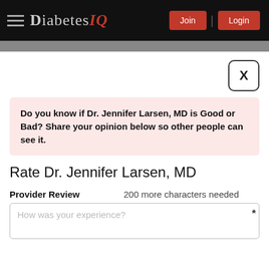DiabetesIQ — Join | Login
[Figure (screenshot): Close button (X) in top right corner of modal]
Do you know if Dr. Jennifer Larsen, MD is Good or Bad? Share your opinion below so other people can see it.
Rate Dr. Jennifer Larsen, MD
Provider Review   200 more characters needed
How was your experience?